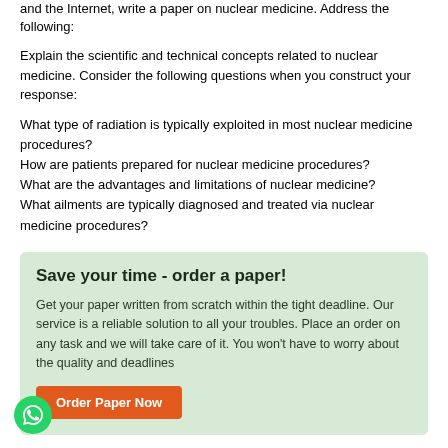and the Internet, write a paper on nuclear medicine. Address the following:
Explain the scientific and technical concepts related to nuclear medicine. Consider the following questions when you construct your response:
What type of radiation is typically exploited in most nuclear medicine procedures?
How are patients prepared for nuclear medicine procedures?
What are the advantages and limitations of nuclear medicine?
What ailments are typically diagnosed and treated via nuclear medicine procedures?
Save your time - order a paper!
Get your paper written from scratch within the tight deadline. Our service is a reliable solution to all your troubles. Place an order on any task and we will take care of it. You won't have to worry about the quality and deadlines
Order Paper Now